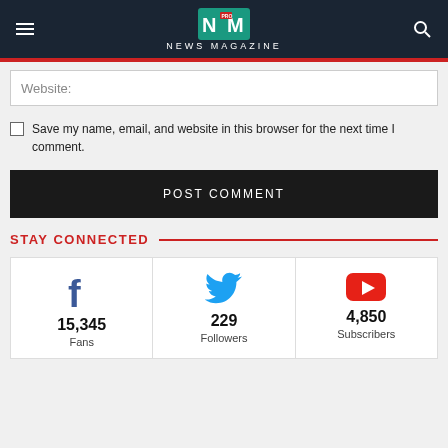NEWS MAGAZINE
Website:
Save my name, email, and website in this browser for the next time I comment.
POST COMMENT
STAY CONNECTED
[Figure (infographic): Three social media stat cards: Facebook 15,345 Fans, Twitter 229 Followers, YouTube 4,850 Subscribers]